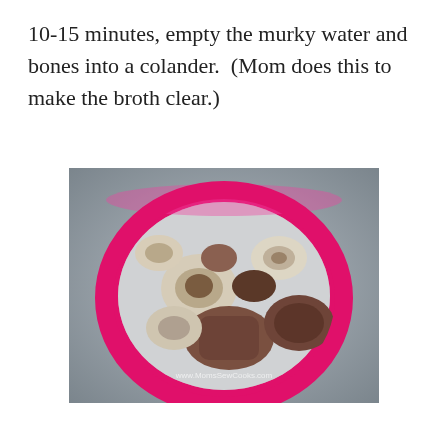10-15 minutes, empty the murky water and bones into a colander.  (Mom does this to make the broth clear.)
[Figure (photo): A pink colander filled with cooked pork bones sitting in a stainless steel kitchen sink. A watermark reading 'www.MomsSewCooks.com' is visible at the bottom of the image.]